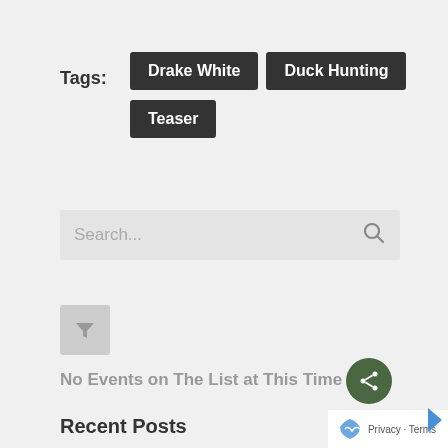Tags:
Drake White
Duck Hunting
Teaser
Search...
[Figure (other): Filter icon button (funnel/triangle shape)]
No Events on The List at This Time
Recent Posts
[Figure (other): Share button circle with share icon, and privacy/terms overlay with reCAPTCHA icon]